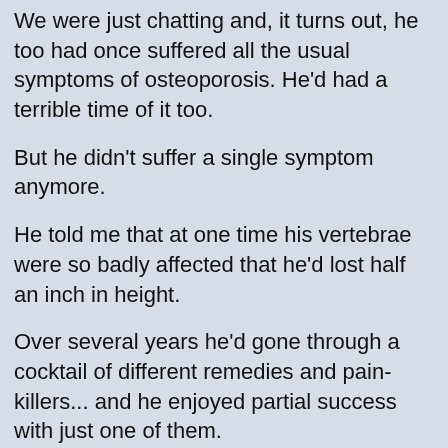We were just chatting and, it turns out, he too had once suffered all the usual symptoms of osteoporosis. He'd had a terrible time of it too.
But he didn't suffer a single symptom anymore.
He told me that at one time his vertebrae were so badly affected that he'd lost half an inch in height.
Over several years he'd gone through a cocktail of different remedies and pain-killers... and he enjoyed partial success with just one of them.
Even so, his t-score – which measures bone density – was steadily worsening. More slowly, but still worsening.
He'd patiently tried all the standard treatments and meds because he wanted to treat his osteoporosis properly. They hadn't worked out.